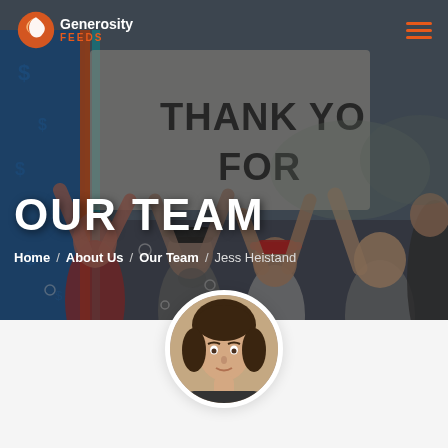[Figure (photo): Hero background photo: group of people with arms raised celebrating, holding a 'Thank You For' sign, outdoors with colorful truck in background]
Generosity Feeds — navigation bar with logo and hamburger menu
OUR TEAM
Home / About Us / Our Team / Jess Heistand
[Figure (photo): Circular profile photo of a woman with dark hair, cropped at bottom of page]